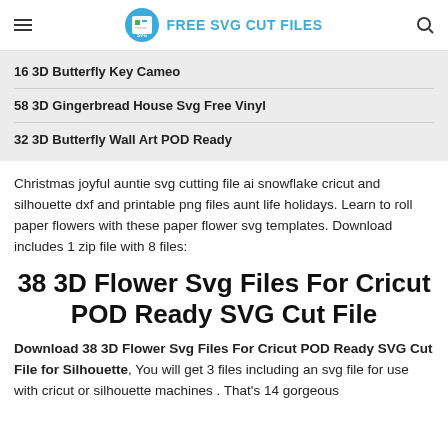FREE SVG CUT FILES
16 3D Butterfly Key Cameo
58 3D Gingerbread House Svg Free Vinyl
32 3D Butterfly Wall Art POD Ready
Christmas joyful auntie svg cutting file ai snowflake cricut and silhouette dxf and printable png files aunt life holidays. Learn to roll paper flowers with these paper flower svg templates. Download includes 1 zip file with 8 files:
38 3D Flower Svg Files For Cricut POD Ready SVG Cut File
Download 38 3D Flower Svg Files For Cricut POD Ready SVG Cut File for Silhouette, You will get 3 files including an svg file for use with cricut or silhouette machines . That's 14 gorgeous